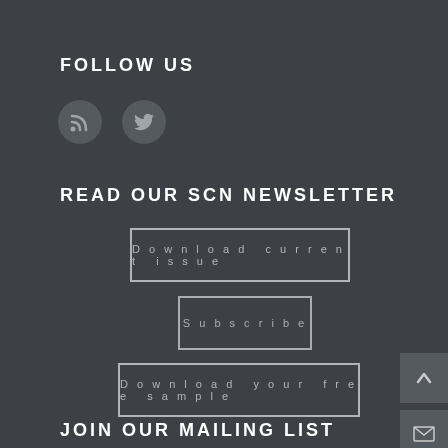FOLLOW US
[Figure (illustration): Two circular social media icons: RSS feed icon and Twitter bird icon, both in dark gray on slightly lighter gray circles]
READ OUR SCN NEWSLETTER
Download current issue
Subscribe
Download your free sample
[Figure (illustration): Scroll-to-top button with upward chevron arrow on dark gray background]
[Figure (illustration): Email/envelope icon button on dark gray background]
JOIN OUR MAILING LIST